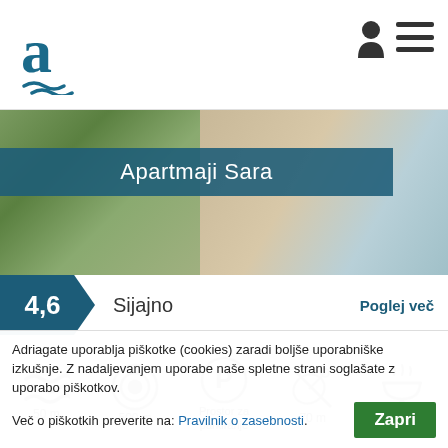a (logo) — Adriagate
Apartmaji Sara
4,6  Sijajno  Poglej več
[Figure (infographic): Amenity icons: water/sea (50 m), target/sport (500 m), parking (Prostor za parkiranje), satellite/dish (70 m), grill/BBQ (Roštilj)]
12 23 €
Adriagate uporablja piškotke (cookies) zaradi boljše uporabniške izkušnje. Z nadaljevanjem uporabe naše spletne strani soglašate z uporabo piškotkov. Več o piškotkih preverite na: Pravilnik o zasebnosti.  Zapri